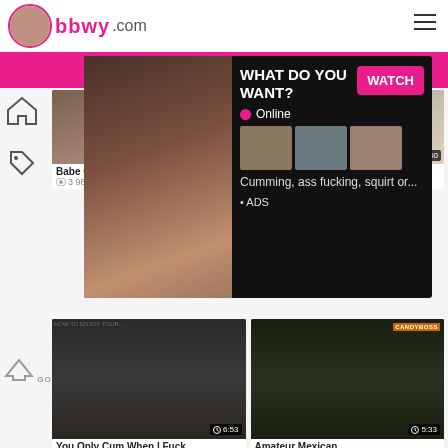bbwy .com
Babe Gets
3 987 views
Not At Home
525 views
71%
[Figure (photo): Popup ad overlay with thumbnail images, headline 'WHAT DO YOU WANT?' and WATCH button, with Online indicator and small preview thumbnails, text 'Cumming, ass fucking, squirt or... ADS']
You Only Cum When I Fuck
78%
Amateur Mexican
77%
6:53
5:33
GO TOP